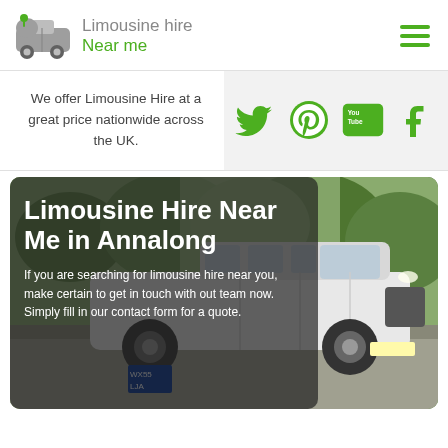[Figure (logo): Limousine Hire Near Me logo with grey car icon and green/grey text]
We offer Limousine Hire at a great price nationwide across the UK.
[Figure (infographic): Social media icons: Twitter, Pinterest, YouTube, Tumblr in green]
[Figure (photo): Photo of a white stretch limousine parked outdoors with trees in background]
Limousine Hire Near Me in Annalong
If you are searching for limousine hire near you, make certain to get in touch with out team now. Simply fill in our contact form for a quote.